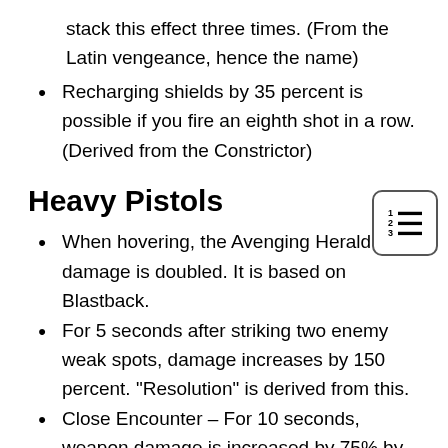stack this effect three times. (From the Latin vengeance, hence the name)
Recharging shields by 35 percent is possible if you fire an eighth shot in a row. (Derived from the Constrictor)
Heavy Pistols
When hovering, the Avenging Herald's damage is doubled. It is based on Blastback.
For 5 seconds after striking two enemy weak spots, damage increases by 150 percent. “Resolution” is derived from this.
Close Encounter – For 10 seconds, weapon damage is increased by 75% by dashing.